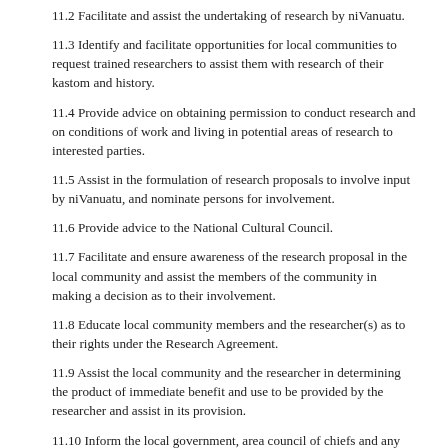11.2 Facilitate and assist the undertaking of research by niVanuatu.
11.3 Identify and facilitate opportunities for local communities to request trained researchers to assist them with research of their kastom and history.
11.4 Provide advice on obtaining permission to conduct research and on conditions of work and living in potential areas of research to interested parties.
11.5 Assist in the formulation of research proposals to involve input by niVanuatu, and nominate persons for involvement.
11.6 Provide advice to the National Cultural Council.
11.7 Facilitate and ensure awareness of the research proposal in the local community and assist the members of the community in making a decision as to their involvement.
11.8 Educate local community members and the researcher(s) as to their rights under the Research Agreement.
11.9 Assist the local community and the researcher in determining the product of immediate benefit and use to be provided by the researcher and assist in its provision.
11.10 Inform the local government, area council of chiefs and any other relevant regional and national bodies of the undertaking of a research project.